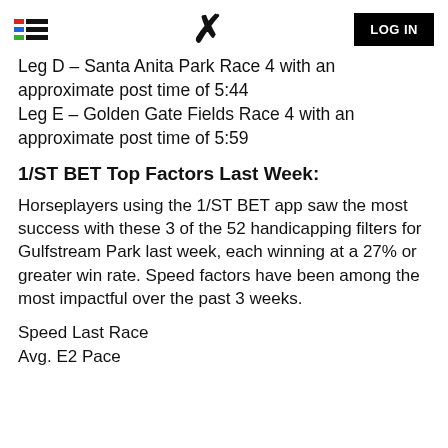LOG IN
Leg D – Santa Anita Park Race 4 with an approximate post time of 5:44
Leg E – Golden Gate Fields Race 4 with an approximate post time of 5:59
1/ST BET Top Factors Last Week:
Horseplayers using the 1/ST BET app saw the most success with these 3 of the 52 handicapping filters for Gulfstream Park last week, each winning at a 27% or greater win rate. Speed factors have been among the most impactful over the past 3 weeks.
Speed Last Race
Avg. E2 Pace